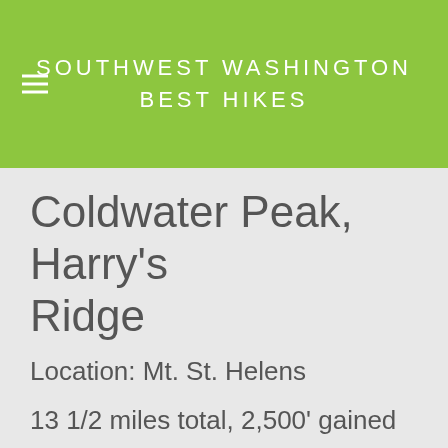SOUTHWEST WASHINGTON BEST HIKES
Coldwater Peak, Harry's Ridge
Location: Mt. St. Helens
13 1/2 miles total, 2,500' gained
driving directions
trail map
forest service site
weather forecast for this area
This is an out and back hike to Coldwater Peak and